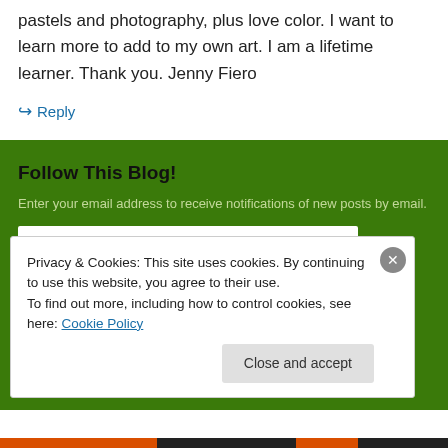pastels and photography, plus love color. I want to learn more to add to my own art. I am a lifetime learner. Thank you. Jenny Fiero
↳ Reply
Follow This Blog!
Enter your email address to receive notifications of new posts by email.
Email Address
Privacy & Cookies: This site uses cookies. By continuing to use this website, you agree to their use.
To find out more, including how to control cookies, see here: Cookie Policy
Close and accept